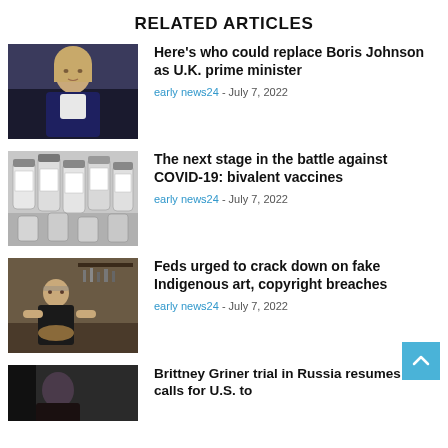RELATED ARTICLES
[Figure (photo): Woman in dark blazer and white blouse — political figure]
Here's who could replace Boris Johnson as U.K. prime minister
early news24 - July 7, 2022
[Figure (photo): Multiple vaccine vials arranged closely together]
The next stage in the battle against COVID-19: bivalent vaccines
early news24 - July 7, 2022
[Figure (photo): Man working at a craft bench in a workshop]
Feds urged to crack down on fake Indigenous art, copyright breaches
early news24 - July 7, 2022
[Figure (photo): Partially visible photo — article about Brittney Griner trial]
Brittney Griner trial in Russia resumes amid calls for U.S. to...